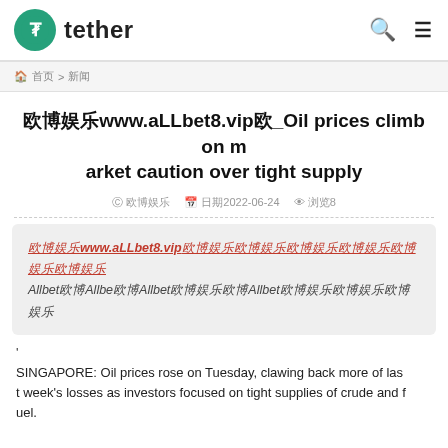tether
🏠 首页 > 新闻
欧博娱乐www.aLLbet8.vip欧_Oil prices climb on market caution over tight supply
作者：欧博娱乐  日期：2022-06-24  浏览：8
欧博娱乐www.aLLbet8.vip欧博娱乐欧博娱乐欧博娱乐欧博娱乐欧博娱乐欧博娱乐
Allbet欧博Allbe欧博Allbet欧博娱乐欧博Allbet欧博娱乐欧博娱乐欧博娱乐
'
SINGAPORE: Oil prices rose on Tuesday, clawing back more of last week's losses as investors focused on tight supplies of crude and fuel.